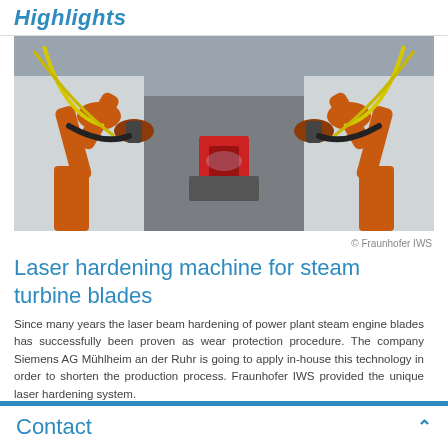Highlights
[Figure (photo): Two orange industrial robotic arms working on a laser hardening machine in a laboratory setting, with yellow cables and various equipment in the background.]
© Fraunhofer IWS
Laser hardening machine for steam turbine blades
Since many years the laser beam hardening of power plant steam engine blades has successfully been proven as wear protection procedure. The company Siemens AG Mühlheim an der Ruhr is going to apply in-house this technology in order to shorten the production process. Fraunhofer IWS provided the unique laser hardening system.
Contact